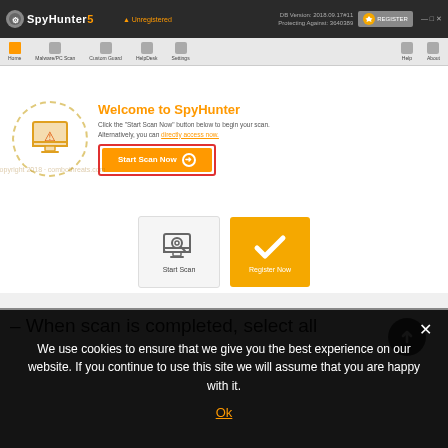[Figure (screenshot): SpyHunter 5 application screenshot showing the welcome screen with 'Start Scan Now' button highlighted in a red rectangle, and below it two icon buttons: 'Start Scan' and 'Register Now' (yellow). The app has a dark top bar with the SpyHunter 5 logo, navigation bar, and a computer monitor warning icon in a dashed circle.]
– When scan is completed, select all
We use cookies to ensure that we give you the best experience on our website. If you continue to use this site we will assume that you are happy with it.
Ok